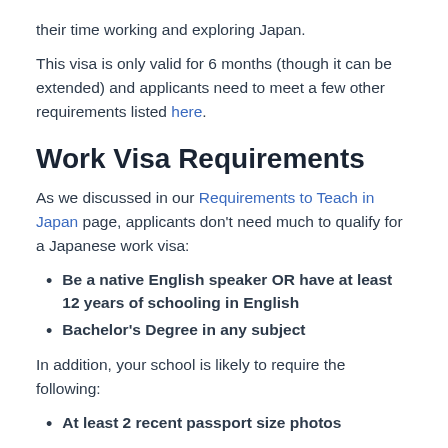their time working and exploring Japan.
This visa is only valid for 6 months (though it can be extended) and applicants need to meet a few other requirements listed here.
Work Visa Requirements
As we discussed in our Requirements to Teach in Japan page, applicants don't need much to qualify for a Japanese work visa:
Be a native English speaker OR have at least 12 years of schooling in English
Bachelor's Degree in any subject
In addition, your school is likely to require the following:
At least 2 recent passport size photos
A copy of your passport information page (the one with your face on it)